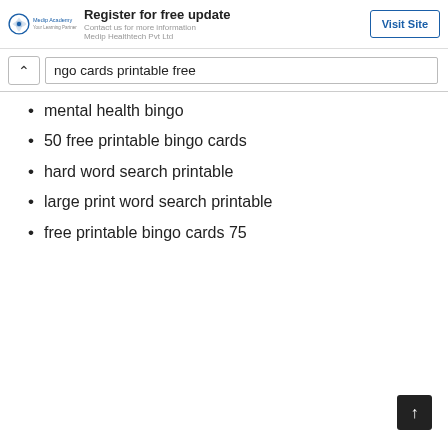Register for free update | Contact us for more information Medip Healthtech Pvt Ltd | Visit Site
ngo cards printable free
mental health bingo
50 free printable bingo cards
hard word search printable
large print word search printable
free printable bingo cards 75